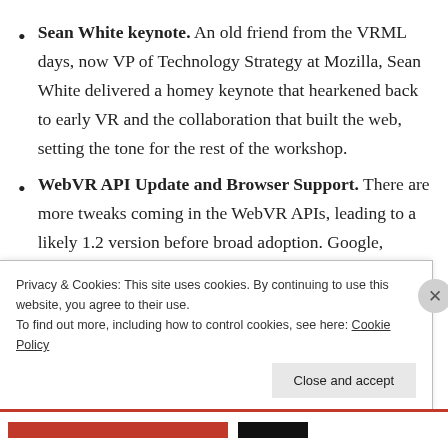Sean White keynote. An old friend from the VRML days, now VP of Technology Strategy at Mozilla, Sean White delivered a homey keynote that hearkened back to early VR and the collaboration that built the web, setting the tone for the rest of the workshop.
WebVR API Update and Browser Support. There are more tweaks coming in the WebVR APIs, leading to a likely 1.2 version before broad adoption. Google, Mozilla, Samsung and Oculus
Privacy & Cookies: This site uses cookies. By continuing to use this website, you agree to their use.
To find out more, including how to control cookies, see here: Cookie Policy